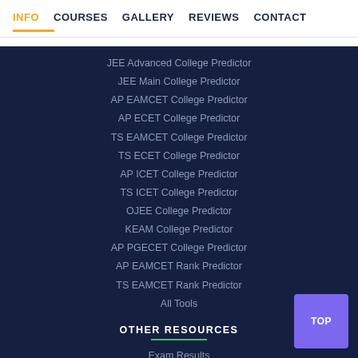INFO  COURSES  GALLERY  REVIEWS  CONTACT
JEE Advanced College Predictor
JEE Main College Predictor
AP EAMCET College Predictor
AP ECET College Predictor
TS EAMCET College Predictor
TS ECET College Predictor
AP ICET College Predictor
TS ICET College Predictor
OJEE College Predictor
KEAM College Predictor
AP PGECET College Predictor
AP EAMCET Rank Predictor
TS EAMCET Rank Predictor
All Tools
OTHER RESOURCES
Exam Results
Question Papers
Study Abroad